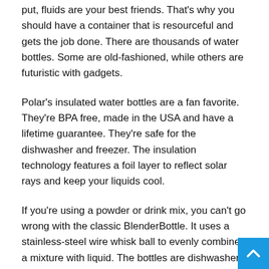put, fluids are your best friends. That's why you should have a container that is resourceful and gets the job done. There are thousands of water bottles. Some are old-fashioned, while others are futuristic with gadgets.
Polar's insulated water bottles are a fan favorite. They're BPA free, made in the USA and have a lifetime guarantee. They're safe for the dishwasher and freezer. The insulation technology features a foil layer to reflect solar rays and keep your liquids cool.
If you're using a powder or drink mix, you can't go wrong with the classic BlenderBottle. It uses a stainless-steel wire whisk ball to evenly combine a mixture with liquid. The bottles are dishwasher safe and good for mixing protein shakes, smoothies, and even pancake batter. They come in 20-ounce, 28-ounce and 32-ounce sizing options.